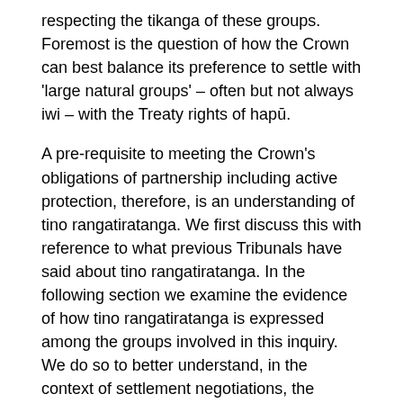respecting the tikanga of these groups. Foremost is the question of how the Crown can best balance its preference to settle with 'large natural groups' – often but not always iwi – with the Treaty rights of hapū.
A pre-requisite to meeting the Crown's obligations of partnership including active protection, therefore, is an understanding of tino rangatiratanga. We first discuss this with reference to what previous Tribunals have said about tino rangatiratanga. In the following section we examine the evidence of how tino rangatiratanga is expressed among the groups involved in this inquiry. We do so to better understand, in the context of settlement negotiations, the Crown's Treaty obligations to Ngātiwai and to the hapū included in the Deed of Mandate.
3.3.1 Tino rangatiratanga, mana, and decision-making